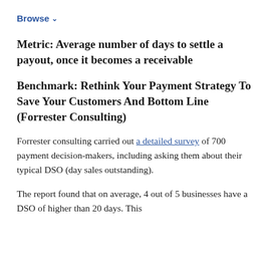Browse
Metric: Average number of days to settle a payout, once it becomes a receivable
Benchmark: Rethink Your Payment Strategy To Save Your Customers And Bottom Line (Forrester Consulting)
Forrester consulting carried out a detailed survey of 700 payment decision-makers, including asking them about their typical DSO (day sales outstanding).
The report found that on average, 4 out of 5 businesses have a DSO of higher than 20 days. This